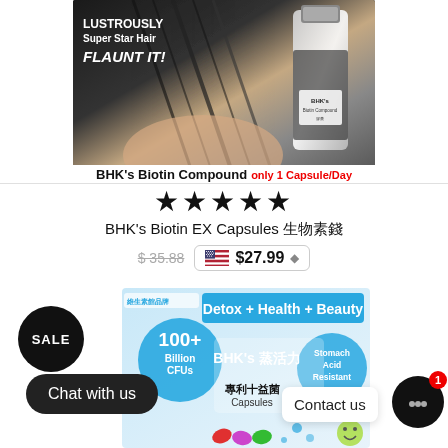[Figure (photo): BHK's Biotin Compound hair product advertisement showing dark shiny hair and a product bottle. Text overlays: 'LUSTROUSLY Super Star Hair', 'FLAUNT IT!', 'BHK's Biotin Compound', 'only 1 Capsule/Day']
BHK's Biotin Compound  only 1 Capsule/Day
★★★★★
BHK's Biotin EX Capsules 生物素錠
$ 35.88  🇺🇸 $27.99 ◆
[Figure (photo): BHK's probiotic capsules product image showing 'Detox + Health + Beauty', '100+ Billion CFUs', 'BHK's', 'Stomach Acid Resistant', '專利十益菌 Capsules' on packaging with colorful capsules and bacteria illustrations]
SALE
Chat with us
Contact us